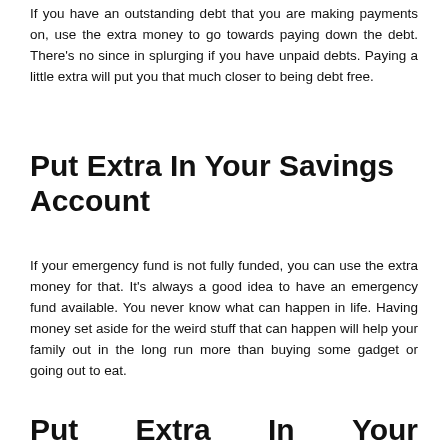If you have an outstanding debt that you are making payments on, use the extra money to go towards paying down the debt. There's no since in splurging if you have unpaid debts. Paying a little extra will put you that much closer to being debt free.
Put Extra In Your Savings Account
If your emergency fund is not fully funded, you can use the extra money for that. It's always a good idea to have an emergency fund available. You never know what can happen in life. Having money set aside for the weird stuff that can happen will help your family out in the long run more than buying some gadget or going out to eat.
Put Extra In Your